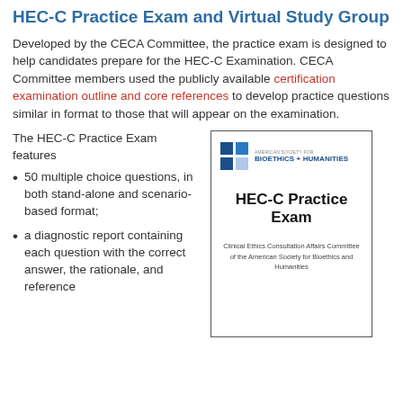HEC-C Practice Exam and Virtual Study Group
Developed by the CECA Committee, the practice exam is designed to help candidates prepare for the HEC-C Examination. CECA Committee members used the publicly available certification examination outline and core references to develop practice questions similar in format to those that will appear on the examination.
The HEC-C Practice Exam features
50 multiple choice questions, in both stand-alone and scenario-based format;
a diagnostic report containing each question with the correct answer, the rationale, and reference
[Figure (illustration): Book cover for HEC-C Practice Exam by the Clinical Ethics Consultation Affairs Committee of the American Society for Bioethics and Humanities, with ASBH logo at top]